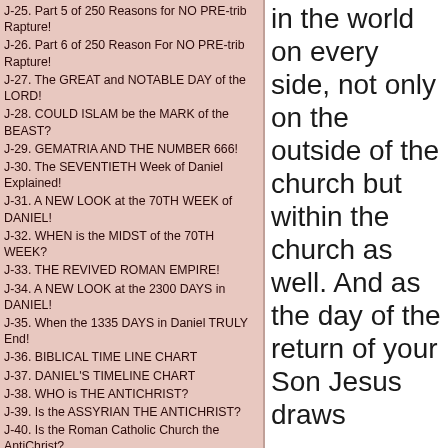J-25. Part 5 of 250 Reasons for NO PRE-trib Rapture!
J-26. Part 6 of 250 Reason For NO PRE-trib Rapture!
J-27. The GREAT and NOTABLE DAY of the LORD!
J-28. COULD ISLAM be the MARK of the BEAST?
J-29. GEMATRIA AND THE NUMBER 666!
J-30. The SEVENTIETH Week of Daniel Explained!
J-31. A NEW LOOK at the 70TH WEEK of DANIEL!
J-32. WHEN is the MIDST of the 70TH WEEK?
J-33. THE REVIVED ROMAN EMPIRE!
J-34. A NEW LOOK at the 2300 DAYS in DANIEL!
J-35. When the 1335 DAYS in Daniel TRULY End!
J-36. BIBLICAL TIME LINE CHART
J-37. DANIEL'S TIMELINE CHART
J-38. WHO is THE ANTICHRIST?
J-39. Is the ASSYRIAN THE ANTICHRIST?
J-40. Is the Roman Catholic Church the AntiChrist?
J-41. HOW TO RECEIVE THE MARK OF GOD?
J-42. HOW to PREPARE for the GREAT Tribulation!
J-43. WHO is MYSTERY BABYLON?
J-44. THE TARES ARE GATHERED FIRST!
J-45. WHAT is the JUDGMENT SEAT of CHRIST?
J-46. WHO is the BRIDE of CHRIST?
J-47. Is ISRAEL the BRIDE of CHRIST?
J-48. NEW Evidence of a PRE-Tribulation Rapture!
in the world on every side, not only on the outside of the church but within the church as well. And as the day of the return of your Son Jesus draws